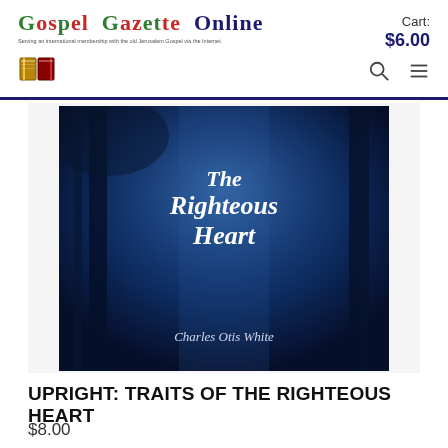Gospel Gazette Online — Serving an international membership with the old Jerusalem Gospel via the Internet. Cart: $6.00
[Figure (logo): Book icon logo for Gospel Gazette Online]
[Figure (photo): Book cover of 'Upright: Traits of the Righteous Heart' by Charles Otis White — dark blue background showing a forest scene with white italic title text and author name]
UPRIGHT: TRAITS OF THE RIGHTEOUS HEART
$8.00